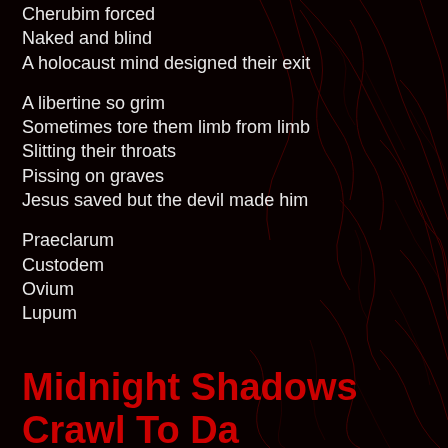Cherubim forced
Naked and blind
A holocaust mind designed their exit
A libertine so grim
Sometimes tore them limb from limb
Slitting their throats
Pissing on graves
Jesus saved but the devil made him
Praeclarum
Custodem
Ovium
Lupum
Midnight Shadows Crawl To Da...
With Life
[Narration:]
"Sometimes I beheaded them
with daggers, with poniards, with knives
Sometimes I suspended them in my room
...